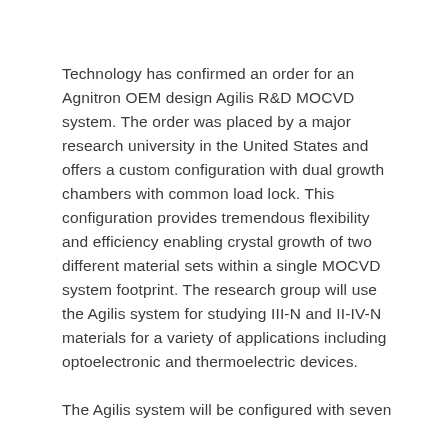Technology has confirmed an order for an Agnitron OEM design Agilis R&D MOCVD system. The order was placed by a major research university in the United States and offers a custom configuration with dual growth chambers with common load lock. This configuration provides tremendous flexibility and efficiency enabling crystal growth of two different material sets within a single MOCVD system footprint. The research group will use the Agilis system for studying III-N and II-IV-N materials for a variety of applications including optoelectronic and thermoelectric devices.
The Agilis system will be configured with seven